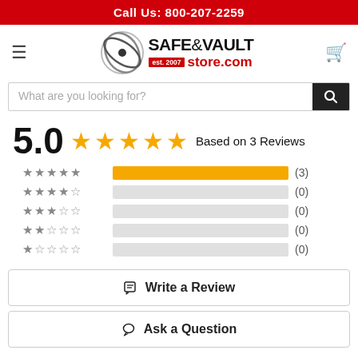Call Us: 800-207-2259
[Figure (logo): Safe & Vault Store logo with circular eye icon and 'SAFE&VAULT est.2007 store.com' text]
What are you looking for?
5.0 ★★★★★ Based on 3 Reviews
[Figure (bar-chart): Rating breakdown]
✎  Write a Review
💬  Ask a Question